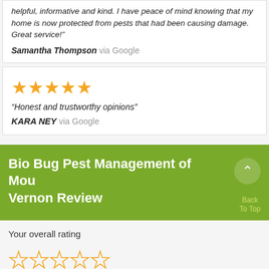helpful, informative and kind. I have peace of mind knowing that my home is now protected from pests that had been causing damage. Great service!"
Samantha Thompson via Google
[Figure (other): Five filled orange stars rating]
“Honest and trustworthy opinions”
KARA NEY via Google
Bio Bug Pest Management of Mount Vernon Review
Back To Top
Your overall rating
[Figure (other): Five outline/empty orange stars for rating input]